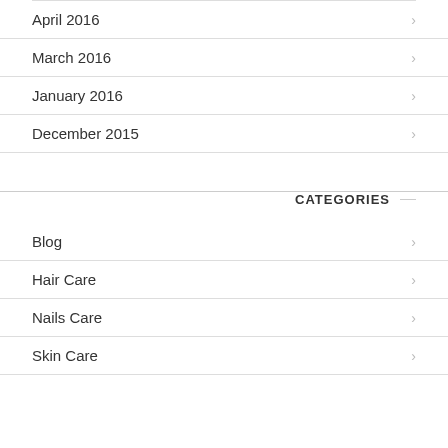April 2016
March 2016
January 2016
December 2015
CATEGORIES
Blog
Hair Care
Nails Care
Skin Care